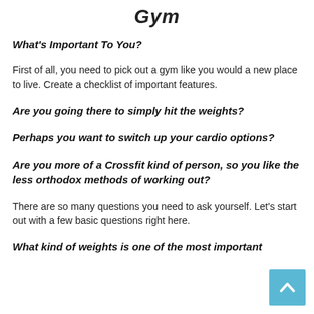Gym
What's Important To You?
First of all, you need to pick out a gym like you would a new place to live. Create a checklist of important features.
Are you going there to simply hit the weights?
Perhaps you want to switch up your cardio options?
Are you more of a Crossfit kind of person, so you like the less orthodox methods of working out?
There are so many questions you need to ask yourself. Let's start out with a few basic questions right here.
What kind of weights is one of the most important